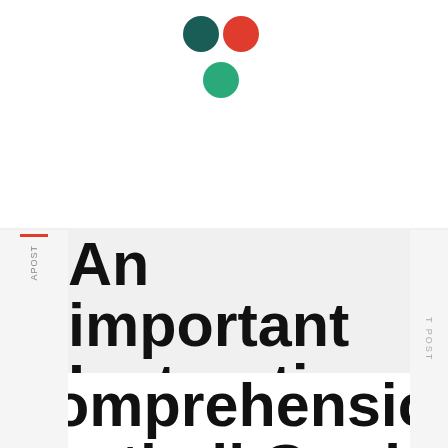[Figure (illustration): Three dots arranged in a triangle: dark teal and red dots on top row, light teal/green dot below center]
An important Instruction That will Comprehension Football Card-playing Prospects